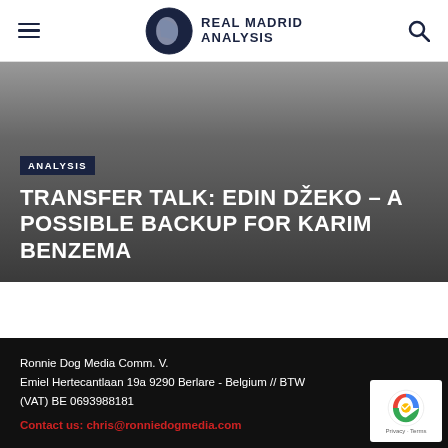REAL MADRID ANALYSIS
TRANSFER TALK: EDIN DŽEKO – A POSSIBLE BACKUP FOR KARIM BENZEMA
Ronnie Dog Media Comm. V.
Emiel Hertecantlaan 19a 9290 Berlare - Belgium // BTW (VAT) BE 0693988181
Contact us: chris@ronniedogmedia.com